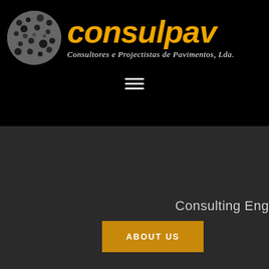[Figure (logo): Consulpav company logo: circular black-and-white texture image on the left, orange bold italic 'consulpav' text, and italic white subtitle 'Consultores e Projectistas de Pavimentos, Lda.' on black background]
[Figure (other): Hamburger menu icon (three white horizontal lines) centered on black background]
Consulting Eng
ABOUT US